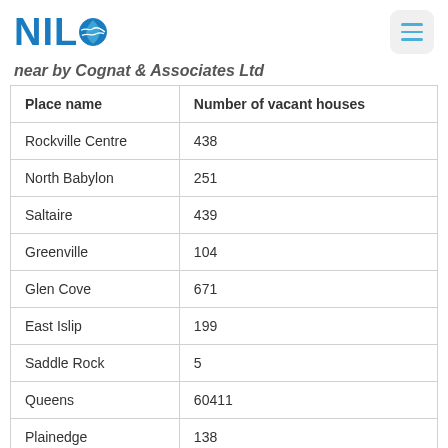NILJO
near by Cognat & Associates Ltd
| Place name | Number of vacant houses |
| --- | --- |
| Rockville Centre | 438 |
| North Babylon | 251 |
| Saltaire | 439 |
| Greenville | 104 |
| Glen Cove | 671 |
| East Islip | 199 |
| Saddle Rock | 5 |
| Queens | 60411 |
| Plainedge | 138 |